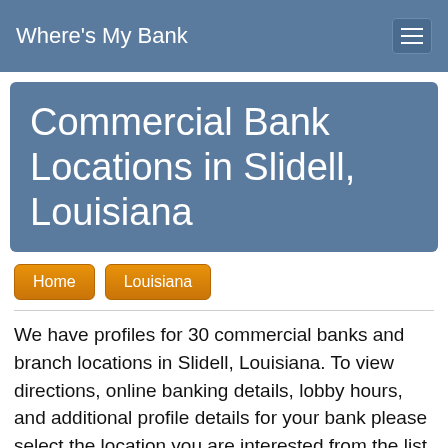Where's My Bank
Commercial Bank Locations in Slidell, Louisiana
Home
Louisiana
We have profiles for 30 commercial banks and branch locations in Slidell, Louisiana. To view directions, online banking details, lobby hours, and additional profile details for your bank please select the location you are interested from the list below. Alternatively, you may find it quicker to use our search tool below by entering any details you know